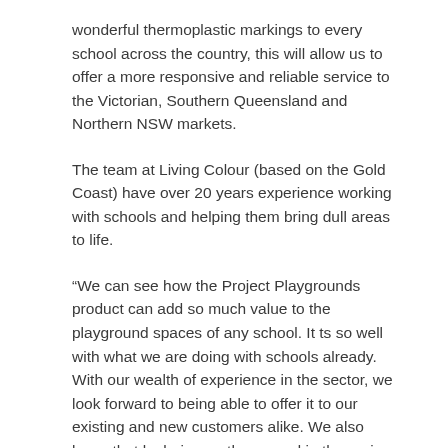wonderful thermoplastic markings to every school across the country, this will allow us to offer a more responsive and reliable service to the Victorian, Southern Queensland and Northern NSW markets.
The team at Living Colour (based on the Gold Coast) have over 20 years experience working with schools and helping them bring dull areas to life.
“We can see how the Project Playgrounds product can add so much value to the playground spaces of any school. It ts so well with what we are doing with schools already. With our wealth of experience in the sector, we look forward to being able to offer it to our existing and new customers alike. We also know that by being on the ground in the region and our reputation in the sector, clients can be con dent in the service they will receive.”
The team at Project Playgrounds Australia, together with their partners, are excited about the expansion of the business. We